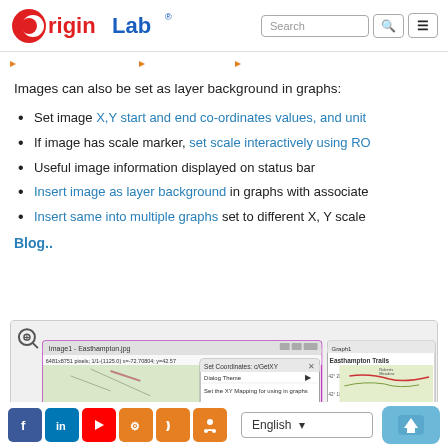[Figure (logo): OriginLab logo — red O with white C cutout, then 'rigin' in red, 'Lab' in blue with registered trademark symbol]
Images can also be set as layer background in graphs:
Set image X,Y start and end co-ordinates values, and unit
If image has scale marker, set scale interactively using RO
Useful image information displayed on status bar
Insert image as layer background in graphs with associate
Insert same into multiple graphs set to different X, Y scale
Blog..
[Figure (screenshot): Screenshot showing OriginLab image window with 6481x8751 pixels, 1/1-(1125.0) x=-72.70804, y=42.57 coordinates, a Set Coordinates: c/GetXY dialog with Dialog Theme and Set the XY Mapping options, and a second window showing Easthampton Trails map at 42°28.9N and 42°18.9N]